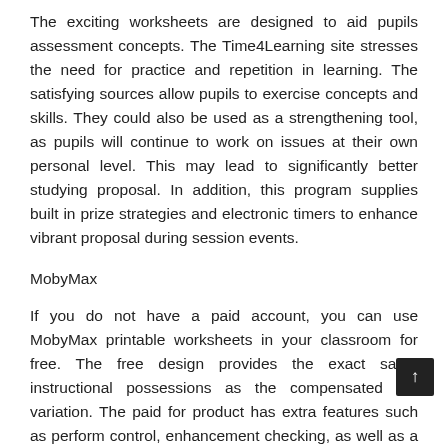The exciting worksheets are designed to aid pupils assessment concepts. The Time4Learning site stresses the need for practice and repetition in learning. The satisfying sources allow pupils to exercise concepts and skills. They could also be used as a strengthening tool, as pupils will continue to work on issues at their own personal level. This may lead to significantly better studying proposal. In addition, this program supplies built in prize strategies and electronic timers to enhance vibrant proposal during session events.
MobyMax
If you do not have a paid account, you can use MobyMax printable worksheets in your classroom for free. The free design provides the exact same instructional possessions as the compensated out variation. The paid for product has extra features such as perform control, enhancement checking, as well as a messenger. Moreover, it includes pc worksheets well as a college student response plan. You may also purchase a trainer recognition for $99, which provides you usage of far